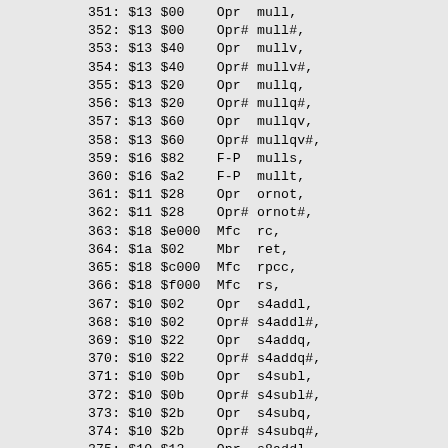351: $13 $00    Opr  mull,
352: $13 $00    Opr# mull#,
353: $13 $40    Opr  mullv,
354: $13 $40    Opr# mullv#,
355: $13 $20    Opr  mullq,
356: $13 $20    Opr# mullq#,
357: $13 $60    Opr  mullqv,
358: $13 $60    Opr# mullqv#,
359: $16 $82    F-P  mulls,
360: $16 $a2    F-P  mullt,
361: $11 $28    Opr  ornot,
362: $11 $28    Opr# ornot#,
363: $18 $e000  Mfc  rc,
364: $1a $02    Mbr  ret,
365: $18 $c000  Mfc  rpcc,
366: $18 $f000  Mfc  rs,
367: $10 $02    Opr  s4addl,
368: $10 $02    Opr# s4addl#,
369: $10 $22    Opr  s4addq,
370: $10 $22    Opr# s4addq#,
371: $10 $0b    Opr  s4subl,
372: $10 $0b    Opr# s4subl#,
373: $10 $2b    Opr  s4subq,
374: $10 $2b    Opr# s4subq#,
375: $10 $12    Opr  s8addl,
376: $10 $12    Opr# s8addl#,
377: $10 $32    Opr  s8addq,
378: $10 $32    Opr# s8addq#,
379: $10 $1b    Opr  s8ubl,
380: $10 $1b    Opr# s8ubl#,